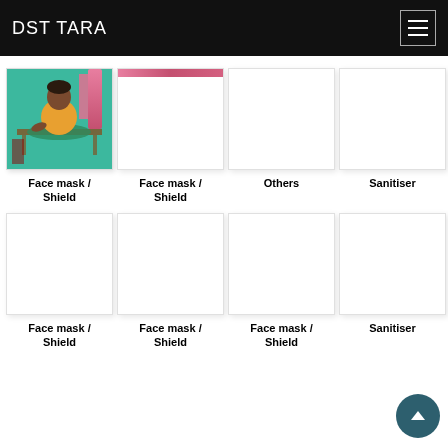DST TARA
[Figure (photo): A woman sitting at a sewing table with green fabric, making face masks. Background is teal/green wall.]
Face mask / Shield
[Figure (photo): Blank white card with partial pink/red stripe at top]
Face mask / Shield
[Figure (photo): Blank white card]
Others
[Figure (photo): Blank white card]
Sanitiser
[Figure (photo): Blank white card]
Face mask / Shield
[Figure (photo): Blank white card]
Face mask / Shield
[Figure (photo): Blank white card]
Face mask / Shield
[Figure (photo): Blank white card]
Sanitiser